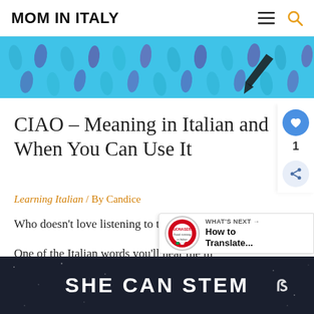MOM IN ITALY
[Figure (illustration): Banner image with light blue background showing repeating Italy boot-shaped maps in various colors, with a dark arrow/pen shape in the center-right area.]
CIAO – Meaning in Italian and When You Can Use It
Learning Italian / By Candice
Who doesn't love listening to the Italian language
One of the Italian words you'll hear the most is ciao. What exactly is the meaning of ciao in Italian, and where does the word come from? Can anyone sa
[Figure (logo): Buonasera circular badge logo, red and white, with text around the circle and Italian flag colors.]
WHAT'S NEXT → How to Translate...
SHE CAN STEM